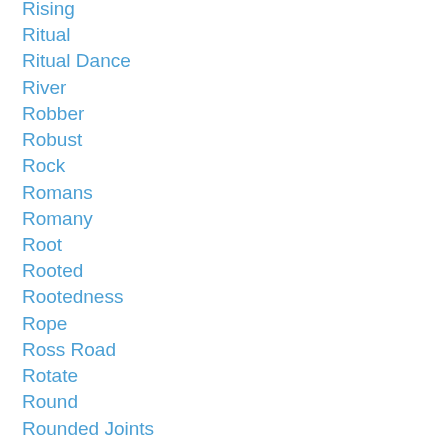Rising
Ritual
Ritual Dance
River
Robber
Robust
Rock
Romans
Romany
Root
Rooted
Rootedness
Rope
Ross Road
Rotate
Round
Rounded Joints
R Squadron
Ruan (囝)
Ruck Sack
Rule